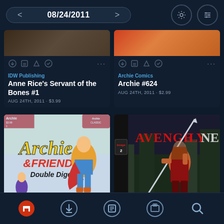08/24/2011
IDW Publishing
Anne Rice's Servant of the Bones #1
AUG 24TH, 2011 · $3.99
Archie Comics
Archie #624
AUG 24TH, 2011 · $2.99
[Figure (illustration): Archie & Friends Double Digest comic book cover showing Archie character in superhero costume]
[Figure (illustration): Avengelyne issue 2 comic book cover showing female warrior with sword in urban setting]